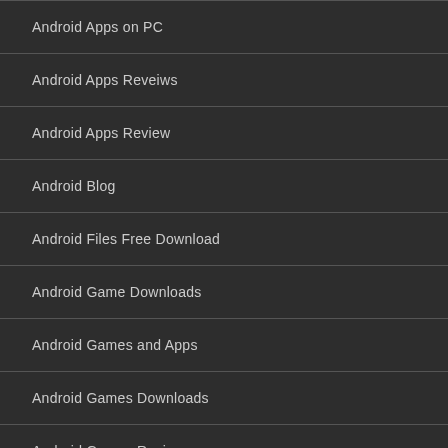Android Apps on PC
Android Apps Reveiws
Android Apps Review
Android Blog
Android Files Free Download
Android Game Downloads
Android Games and Apps
Android Games Downloads
Android Games Review
Android Mobile Apps
Android Platform